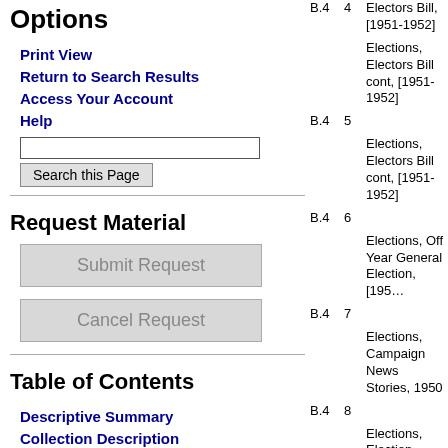Options
Print View
Return to Search Results
Access Your Account
Help
Request Material
Submit Request
Cancel Request
Table of Contents
Descriptive Summary
Collection Description
Administrative Information
| Box | Folder | Description |
| --- | --- | --- |
| B.4 | 4 | Electors Bill, [1951-1952] |
| B.4 | 5 | Elections, Electors Bill cont, [1951-1952] |
| B.4 | 6 | Elections, Electors Bill cont, [1951-1952] |
| B.4 | 7 | Elections, Off Year General Election, [195… |
| B.4 | 8 | Elections, Campaign News Stories, 1950 |
| B.4 | 9 | Elections, Election, 1950 |
| B.4 | 10 | Elections, Election cont, 1950 |
| B.4 |  | Elections, Electors… |